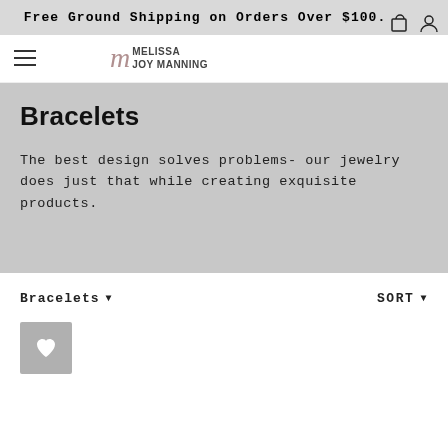Free Ground Shipping on Orders Over $100.
[Figure (logo): Melissa Joy Manning brand logo with stylized script M and text MELISSA JOY MANNING]
Bracelets
The best design solves problems- our jewelry does just that while creating exquisite products.
Bracelets ▾
SORT ▾
[Figure (other): Wishlist/favorite heart button, gray square with white heart icon]